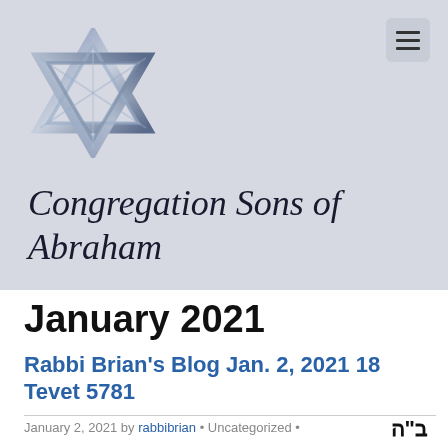[Figure (logo): Star of David logo in metallic blue-grey tones]
Congregation Sons of Abraham
January 2021
Rabbi Brian's Blog Jan. 2, 2021 18 Tevet 5781
January 2, 2021 by rabbibrian • Uncategorized •
ב"ה